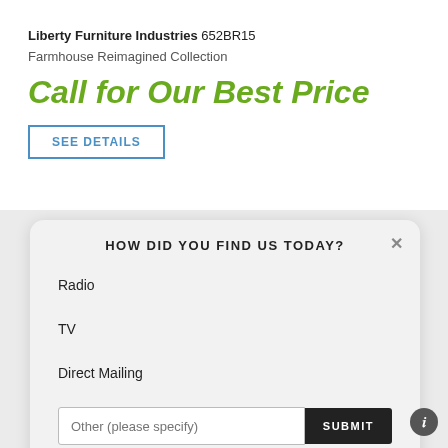Liberty Furniture Industries 652BR15
Farmhouse Reimagined Collection
Call for Our Best Price
SEE DETAILS
HOW DID YOU FIND US TODAY?
Radio
TV
Direct Mailing
Other (please specify)
SUBMIT